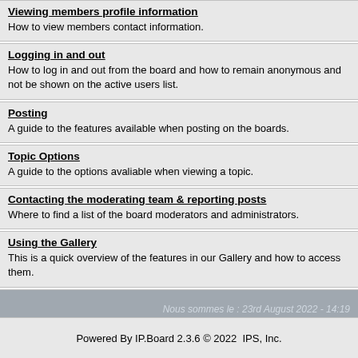Viewing members profile information
How to view members contact information.
Logging in and out
How to log in and out from the board and how to remain anonymous and not be shown on the active users list.
Posting
A guide to the features available when posting on the boards.
Topic Options
A guide to the options avaliable when viewing a topic.
Contacting the moderating team & reporting posts
Where to find a list of the board moderators and administrators.
Using the Gallery
This is a quick overview of the features in our Gallery and how to access them.
Nous sommes le : 23rd August 2022 - 14:19
Powered By IP.Board 2.3.6 © 2022  IPS, Inc.